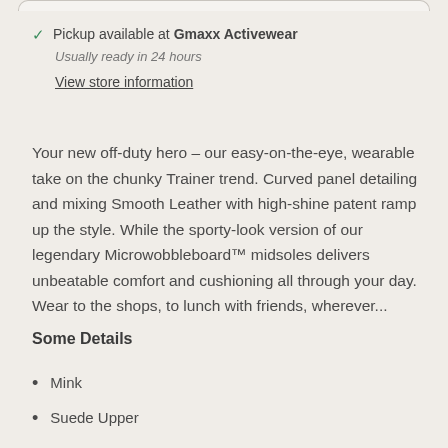Pickup available at Gmaxx Activewear
Usually ready in 24 hours
View store information
Your new off-duty hero – our easy-on-the-eye, wearable take on the chunky Trainer trend. Curved panel detailing and mixing Smooth Leather with high-shine patent ramp up the style. While the sporty-look version of our legendary Microwobbleboard™ midsoles delivers unbeatable comfort and cushioning all through your day. Wear to the shops, to lunch with friends, wherever...
Some Details
Mink
Suede Upper